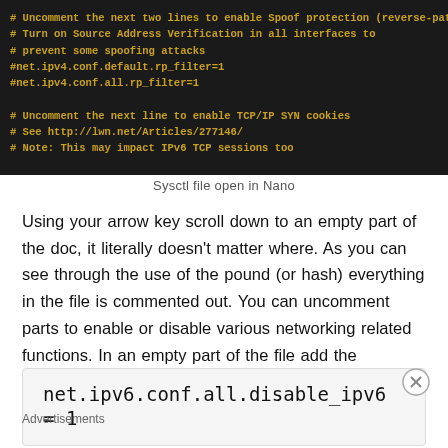[Figure (screenshot): Terminal/Nano editor showing commented-out sysctl configuration lines in yellow text on dark background]
Sysctl file open in Nano
Using your arrow key scroll down to an empty part of the doc, it literally doesn't matter where. As you can see through the use of the pound (or hash) everything in the file is commented out. You can uncomment parts to enable or disable various networking related functions. In an empty part of the file add the following text:
net.ipv6.conf.all.disable_ipv6 = 1
Advertisements